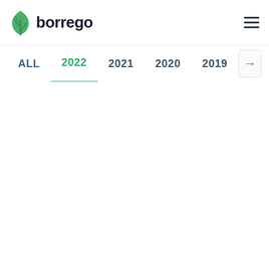borrego
ALL  2022  2021  2020  2019  →